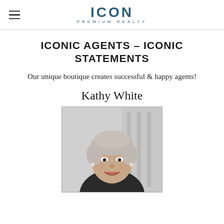ICON PREMIUM REALTY
ICONIC AGENTS - ICONIC STATEMENTS
Our unique boutique creates successful & happy agents!
Kathy White
[Figure (photo): Black and white portrait photo of Kathy White, a woman with short light hair, smiling, wearing a dark jacket, with a blurred office background.]